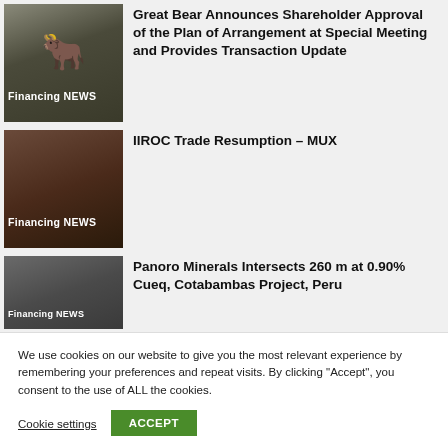[Figure (photo): Thumbnail image with bull silhouette and 'Financing NEWS' label overlay]
Great Bear Announces Shareholder Approval of the Plan of Arrangement at Special Meeting and Provides Transaction Update
[Figure (photo): Dark thumbnail image with 'Financing NEWS' label overlay]
IIROC Trade Resumption – MUX
[Figure (photo): Dark thumbnail with mining/drill imagery and 'Financing NEWS' label]
Panoro Minerals Intersects 260 m at 0.90% Cueq, Cotabambas Project, Peru
We use cookies on our website to give you the most relevant experience by remembering your preferences and repeat visits. By clicking “Accept”, you consent to the use of ALL the cookies.
Cookie settings
ACCEPT